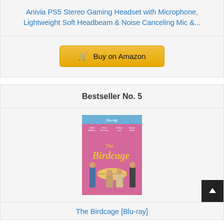Anivia PS5 Stereo Gaming Headset with Microphone, Lightweight Soft Headbeam & Noise Canceling Mic &...
Buy on Amazon
Bestseller No. 5
[Figure (photo): The Birdcage Blu-ray movie cover with pink background showing cast including Robin Williams and Gene Hackman, with umbrella scene]
The Birdcage [Blu-ray]